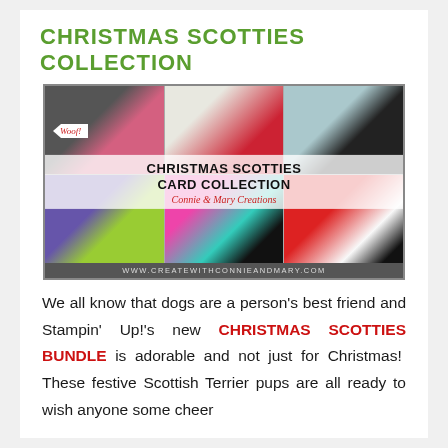CHRISTMAS SCOTTIES COLLECTION
[Figure (photo): Christmas Scotties Card Collection promotional image showing six panels of Scottish Terrier dog-themed holiday cards with text overlay reading 'CHRISTMAS SCOTTIES CARD COLLECTION - Connie & Mary Creations' and website www.createwithconnieandmary.com]
We all know that dogs are a person's best friend and Stampin' Up!'s new CHRISTMAS SCOTTIES BUNDLE is adorable and not just for Christmas!  These festive Scottish Terrier pups are all ready to wish anyone some cheer